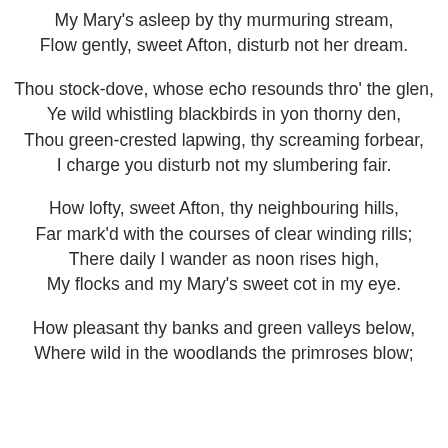My Mary's asleep by thy murmuring stream,
Flow gently, sweet Afton, disturb not her dream.
Thou stock-dove, whose echo resounds thro' the glen,
Ye wild whistling blackbirds in yon thorny den,
Thou green-crested lapwing, thy screaming forbear,
I charge you disturb not my slumbering fair.
How lofty, sweet Afton, thy neighbouring hills,
Far mark'd with the courses of clear winding rills;
There daily I wander as noon rises high,
My flocks and my Mary's sweet cot in my eye.
How pleasant thy banks and green valleys below,
Where wild in the woodlands the primroses blow;